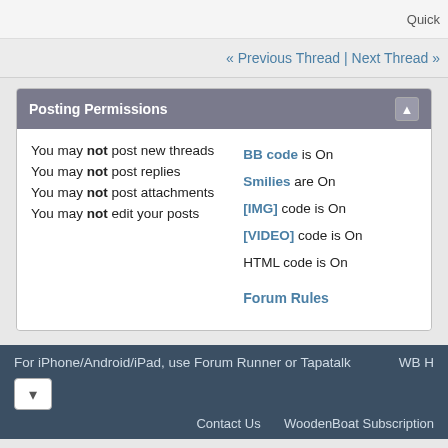Quick
« Previous Thread | Next Thread »
Posting Permissions
You may not post new threads
You may not post replies
You may not post attachments
You may not edit your posts
BB code is On
Smilies are On
[IMG] code is On
[VIDEO] code is On
HTML code is On
Forum Rules
For iPhone/Android/iPad, use Forum Runner or Tapatalk   WB H
Contact Us   WoodenBoat Subscription
All times are GMT -5. The time now is 01:4
Powered by vBulletin® Version 4.2.4 Be
Copyright © 2022 vBulletin Solutions, Inc. All rig
Copyright WoodenBoat Publications, 2020 an